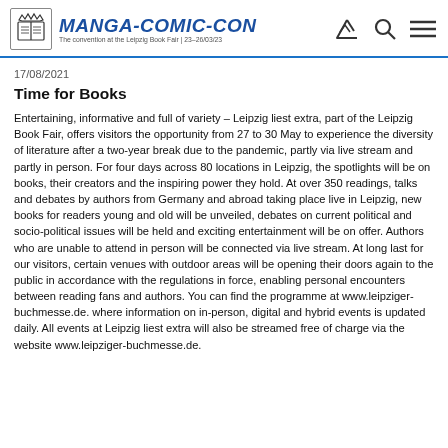MANGA-COMIC-CON The convention at the Leipzig Book Fair | 23–26/03/23
17/08/2021
Time for Books
Entertaining, informative and full of variety – Leipzig liest extra, part of the Leipzig Book Fair, offers visitors the opportunity from 27 to 30 May to experience the diversity of literature after a two-year break due to the pandemic, partly via live stream and partly in person. For four days across 80 locations in Leipzig, the spotlights will be on books, their creators and the inspiring power they hold. At over 350 readings, talks and debates by authors from Germany and abroad taking place live in Leipzig, new books for readers young and old will be unveiled, debates on current political and socio-political issues will be held and exciting entertainment will be on offer. Authors who are unable to attend in person will be connected via live stream. At long last for our visitors, certain venues with outdoor areas will be opening their doors again to the public in accordance with the regulations in force, enabling personal encounters between reading fans and authors. You can find the programme at www.leipziger-buchmesse.de. where information on in-person, digital and hybrid events is updated daily. All events at Leipzig liest extra will also be streamed free of charge via the website www.leipziger-buchmesse.de.